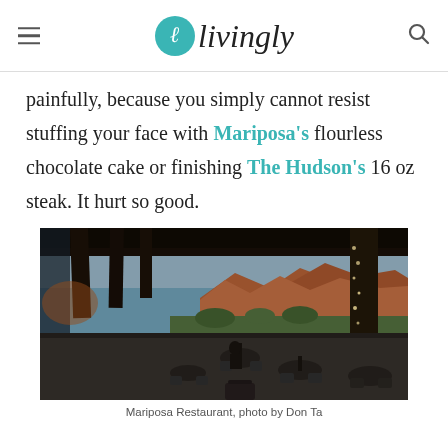livingly
painfully, because you simply cannot resist stuffing your face with Mariposa's flourless chocolate cake or finishing The Hudson's 16 oz steak. It hurt so good.
[Figure (photo): Interior of Mariposa Restaurant with outdoor patio seating, wooden beams overhead with string lights, red rock formations of Sedona visible in the background at sunset.]
Mariposa Restaurant, photo by Don Ta